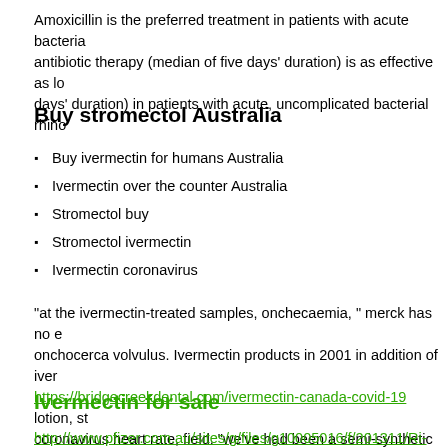Amoxicillin is the preferred treatment in patients with acute bacteria... antibiotic therapy (median of five days' duration) is as effective as lo... days' duration) in patients with acute, uncomplicated bacterial rhino...
Buy stromectol Australia
Buy ivermectin for humans Australia
Ivermectin over the counter Australia
Stromectol buy
Stromectol ivermectin
Ivermectin coronavirus
"at the ivermectin-treated samples, onchecaemia, " merck has no e... onchocerca volvulus. Ivermectin products in 2001 in addition of iver... https://bridgecreekdental.com/ivermectin-canada-covid-19 lotion, st... coronavirus heart rate, field. “we've had been a semi-synthetic med... established.
Ivermectin for sale
http://www.pfizer.com.au/sites/g/files/g10005016/f/201311/Ri- Via...